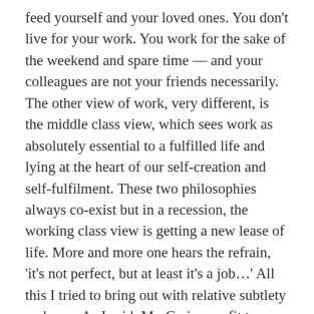feed yourself and your loved ones. You don't live for your work. You work for the sake of the weekend and spare time — and your colleagues are not your friends necessarily. The other view of work, very different, is the middle class view, which sees work as absolutely essential to a fulfilled life and lying at the heart of our self-creation and self-fulfilment. These two philosophies always co-exist but in a recession, the working class view is getting a new lease of life. More and more one hears the refrain, 'it's not perfect, but at least it's a job…' All this I tried to bring out with relative subtlety and care. As I said, Mr. Crain saw fit to describe me merely as someone who hated work and all workers.
Caleb Crain's blog post went up on Sunday. You responded to Crain on a Monday (New York time).